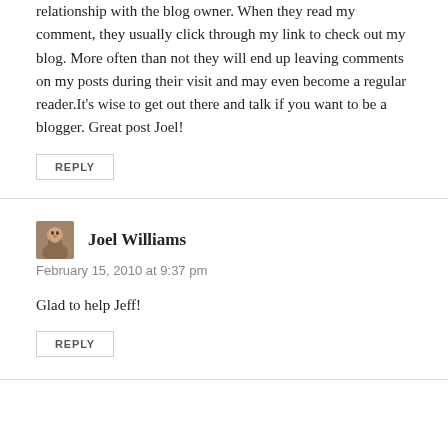relationship with the blog owner. When they read my comment, they usually click through my link to check out my blog. More often than not they will end up leaving comments on my posts during their visit and may even become a regular reader.It's wise to get out there and talk if you want to be a blogger. Great post Joel!
REPLY
Joel Williams
February 15, 2010 at 9:37 pm
Glad to help Jeff!
REPLY